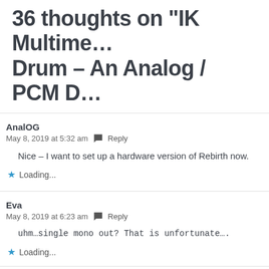36 thoughts on “IK Multime… Drum – An Analog / PCM D…
AnalOG
May 8, 2019 at 5:32 am   Reply
Nice – I want to set up a hardware version of Rebirth now.
Loading...
Eva
May 8, 2019 at 6:23 am   Reply
uhm…single mono out? That is unfortunate….
Loading...
stub